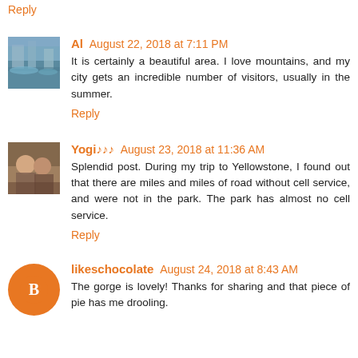Reply
Al  August 22, 2018 at 7:11 PM
It is certainly a beautiful area. I love mountains, and my city gets an incredible number of visitors, usually in the summer.
Reply
Yogi♪♪♪  August 23, 2018 at 11:36 AM
Splendid post. During my trip to Yellowstone, I found out that there are miles and miles of road without cell service, and were not in the park. The park has almost no cell service.
Reply
likeschocolate  August 24, 2018 at 8:43 AM
The gorge is lovely! Thanks for sharing and that piece of pie has me drooling.